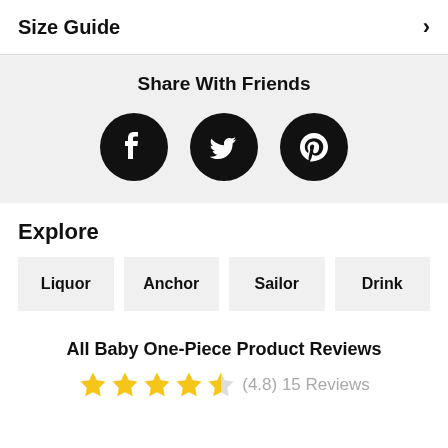Size Guide ›
Share With Friends
[Figure (illustration): Three social media icon buttons: Facebook (f), Twitter (bird), Pinterest (p), each as white icon on black circle]
Explore
Liquor
Anchor
Sailor
Drink
All Baby One-Piece Product Reviews
(4.8) 15 Reviews